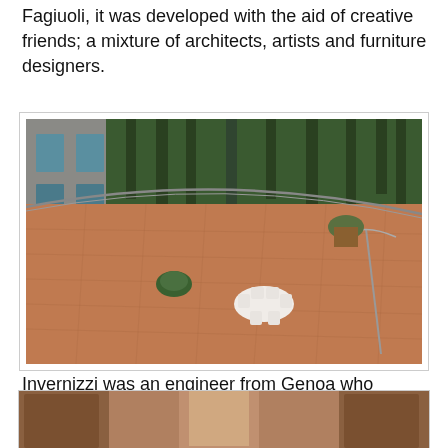Fagiuoli, it was developed with the aid of creative friends; a mixture of architects, artists and furniture designers.
[Figure (photo): Aerial view of a large terracotta-tiled rooftop terrace with a white dining table and chairs in the center, a curved metal railing, a small potted shrub, and tall cypress trees visible in the background, alongside a concrete building facade with windows.]
Invernizzi was an engineer from Genoa who worked for the railway in Padua. The machinery and gear-work that move the villa are based on railroad turntables as he was intent on designing a house which would allow the main windows to always face the sun. The two storied villa became the Invernizzi summer residence.
[Figure (photo): Interior corridor or hallway of the villa, partially visible at the bottom of the page, showing wooden doors and warm-toned walls.]